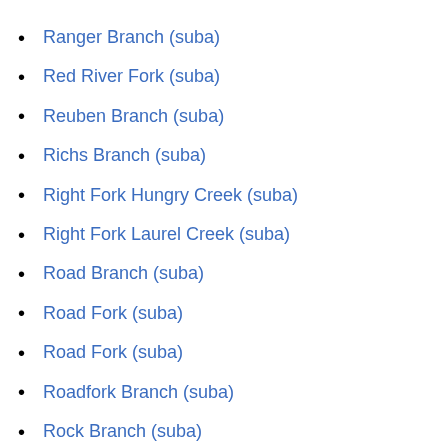Ranger Branch (suba)
Red River Fork (suba)
Reuben Branch (suba)
Richs Branch (suba)
Right Fork Hungry Creek (suba)
Right Fork Laurel Creek (suba)
Road Branch (suba)
Road Fork (suba)
Road Fork (suba)
Roadfork Branch (suba)
Rock Branch (suba)
Rock Creek (suba)